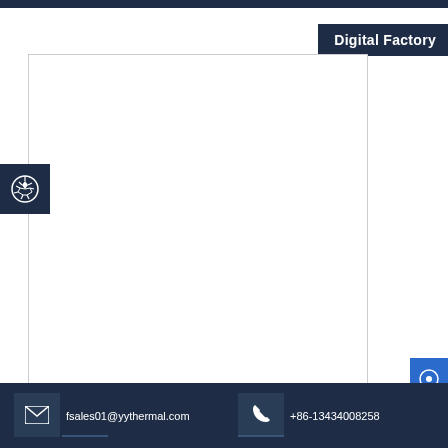Digital Factory
[Figure (photo): Main product image area — large white bordered box, empty/white content (product photo not visible in this crop)]
[Figure (other): Soccer ball / help icon in dark navy square on left side]
[Figure (other): Blue circular chat/contact button on right side]
fsales01@yythermal.com   +86-13434008258